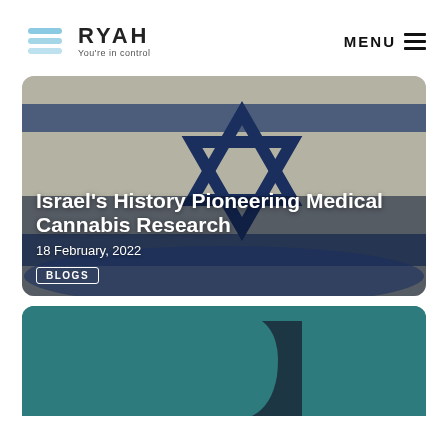RYAH You're in control | MENU
[Figure (illustration): Blog card with Israeli flag background showing Star of David, overlaid with article title 'Israel's History Pioneering Medical Cannabis Research', date '18 February, 2022', and BLOGS tag]
Israel's History Pioneering Medical Cannabis Research
18 February, 2022
BLOGS
[Figure (illustration): Teal/dark green card background with partial dark leaf or logo shape visible]